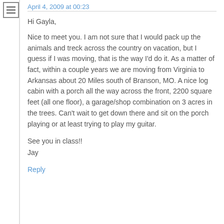April 4, 2009 at 00:23
Hi Gayla,
Nice to meet you. I am not sure that I would pack up the animals and treck across the country on vacation, but I guess if I was moving, that is the way I'd do it. As a matter of fact, within a couple years we are moving from Virginia to Arkansas about 20 Miles south of Branson, MO. A nice log cabin with a porch all the way across the front, 2200 square feet (all one floor), a garage/shop combination on 3 acres in the trees. Can't wait to get down there and sit on the porch playing or at least trying to play my guitar.
See you in class!!
Jay
Reply